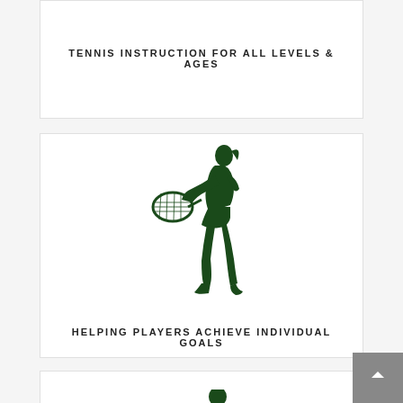TENNIS INSTRUCTION FOR ALL LEVELS & AGES
[Figure (illustration): Dark green silhouette of a female tennis player mid-swing with racket]
HELPING PLAYERS ACHIEVE INDIVIDUAL GOALS
[Figure (illustration): Dark green silhouette of a male tennis player lunging to hit a low ball]